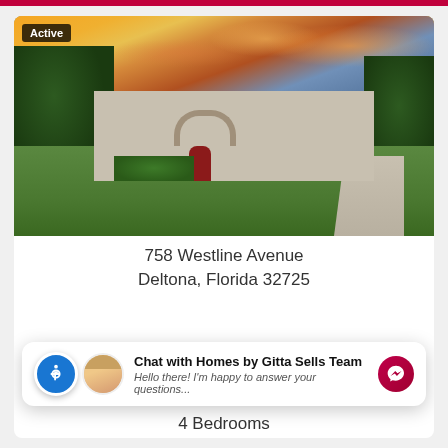[Figure (photo): Exterior photo of a single-family home with orange sunset sky, green lawn, red front door, and two-car garage. Active listing badge in upper left.]
758 Westline Avenue
Deltona, Florida 32725
Chat with Homes by Gitta Sells Team
Hello there! I'm happy to answer your questions...
4 Bedrooms